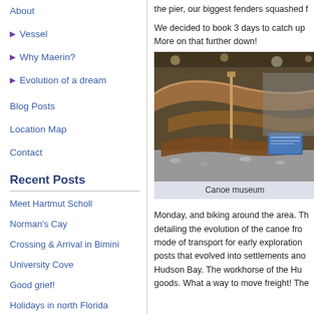About
Vessel
Why Maerin?
Evolution of a dream
Blog Posts
Location Map
Contact
Recent Posts
Meet Hartmut Scholl
Norman's Cay
Crossing & Arrival in Bimini
University Cove
Good grief!
Holidays in north Florida
the pier, our biggest fenders squashed f
We decided to book 3 days to catch up More on that further down!
[Figure (photo): Interior of a canoe museum showing wooden canoes on display under ceiling lights]
Canoe museum
Monday, and biking around the area. Th detailing the evolution of the canoe fro mode of transport for early exploration posts that evolved into settlements ano Hudson Bay. The workhorse of the Hu goods. What a way to move freight! The